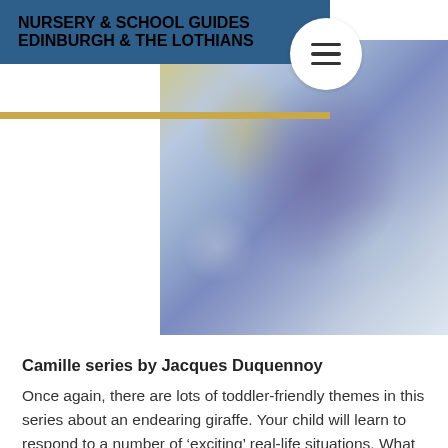NURSERY & SCHOOL GUIDES EDINBURGH & THE LOTHIANS
[Figure (photo): Blurred colourful book cover image with yellow, blue, and purple tones, partially obscured]
Camille series by Jacques Duquennoy
Once again, there are lots of toddler-friendly themes in this series about an endearing giraffe. Your child will learn to respond to a number of ‘exciting’ real-life situations. What do you do when